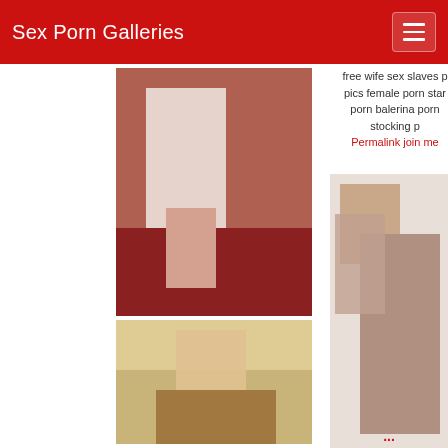Sex Porn Galleries
[Figure (photo): Woman in white dress on red bed]
[Figure (photo): Blonde woman posing on chair]
free wife sex slaves pics female porn star porn balerina porn stocking p
Permalink join me
[Figure (photo): Two men in intimate pose]
...